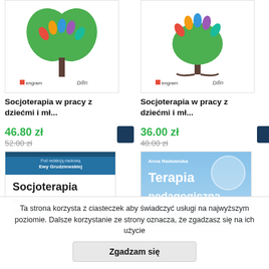[Figure (illustration): Book cover with colorful tree logo (heart-shaped green leaves with colorful hands), engram and Difin publisher logos - left product]
Socjoterapia w pracy z dziećmi i mł...
46.80 zł (current price), 52.00 zł (old price)
[Figure (illustration): Book cover with colorful tree logo (tree with colorful hands as leaves), engram and Difin publisher logos - right product]
Socjoterapia w pracy z dziećmi i mł...
36.00 zł (current price), 40.00 zł (old price)
[Figure (illustration): Book cover: Socjoterapia w pracy z dziećmi, blue and white design, Pod redakcją naukową Ewy Grudziewskiej]
[Figure (illustration): Book cover: Terapia pedagogiczna by Anna Radwańska, blue sky background]
Ta strona korzysta z ciasteczek aby świadczyć usługi na najwyższym poziomie. Dalsze korzystanie ze strony oznacza, że zgadzasz się na ich użycie
Zgadzam się